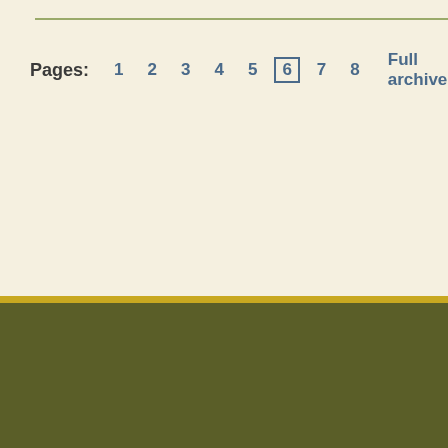Pages: 1 2 3 4 5 6 7 8 Full archive
Home page | Contact | About | Companies | Service | Privacy | Disclaimer